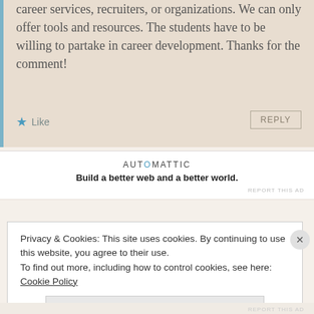career services, recruiters, or organizations. We can only offer tools and resources. The students have to be willing to partake in career development. Thanks for the comment!
★ Like
REPLY
[Figure (logo): Automattic logo with tagline 'Build a better web and a better world.']
REPORT THIS AD
Privacy & Cookies: This site uses cookies. By continuing to use this website, you agree to their use.
To find out more, including how to control cookies, see here: Cookie Policy
Close and accept
REPORT THIS AD